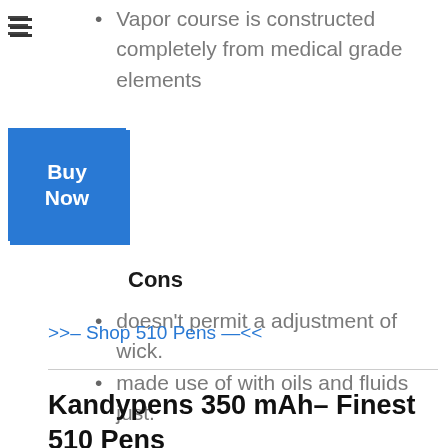Vapor course is constructed completely from medical grade elements
Cons
doesn't permit a adjustment of wick.
made use of with oils and fluids just.
>>– Shop 510 Pens —<<
Kandypens 350 mAh– Finest 510 Pens